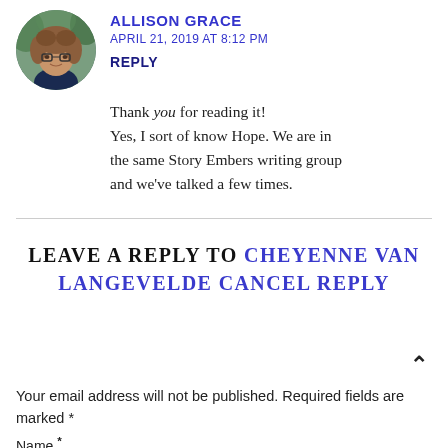[Figure (photo): Circular avatar photo of a young woman with curly hair and glasses, wearing a dark blue shirt, outdoors with green foliage in background.]
ALLISON GRACE
APRIL 21, 2019 AT 8:12 PM
REPLY
Thank you for reading it! Yes, I sort of know Hope. We are in the same Story Embers writing group and we've talked a few times.
LEAVE A REPLY TO CHEYENNE VAN LANGEVELDE CANCEL REPLY
Your email address will not be published. Required fields are marked *
Name *